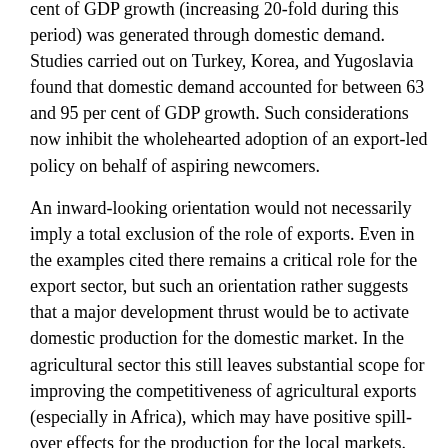cent of GDP growth (increasing 20-fold during this period) was generated through domestic demand. Studies carried out on Turkey, Korea, and Yugoslavia found that domestic demand accounted for between 63 and 95 per cent of GDP growth. Such considerations now inhibit the wholehearted adoption of an export-led policy on behalf of aspiring newcomers.
An inward-looking orientation would not necessarily imply a total exclusion of the role of exports. Even in the examples cited there remains a critical role for the export sector, but such an orientation rather suggests that a major development thrust would be to activate domestic production for the domestic market. In the agricultural sector this still leaves substantial scope for improving the competitiveness of agricultural exports (especially in Africa), which may have positive spill-over effects for the production for the local markets. World Bank studies show that the development of cash-crop production raises the quality of farming in general (largely thanks to improvement in the input/output system) and thus benefits food crops as well.